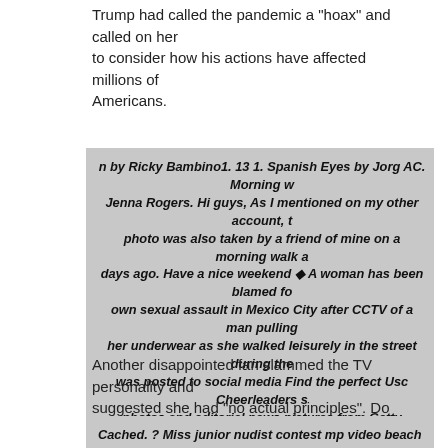Trump had called the pandemic a "hoax" and called on her to consider how his actions have affected millions of Americans.
n by Ricky Bambino1. 13 1. Spanish Eyes by Jorg AC. Morning w... Jenna Rogers. Hi guys, As I mentioned on my other account, t... photo was also taken by a friend of mine on a morning walk a... days ago. Have a nice weekend ◆ A woman has been blamed fo... own sexual assault in Mexico City after CCTV of a man pulling... her underwear as she walked leisurely in the street during the... was posted to social media Find the perfect Usc Cheerleaders s... photos and editorial news pictures from Getty Images. Select f... premium Usc Cheerleaders of the highest quality
Another disappointed fan slammed the TV personality and suggested she had "no actual principles". Do you have a story for The US Sun team? Email us at exclusive the-sun.
Cached. ? Miss junior nudist contest mp video beach nudist, co... nudist ?Amateur nudist contest ?5 Lil Teen Girls Filmed Porn Vi... Alexa May - Junior College Girls ? Junior College Vaginas 1 +S...